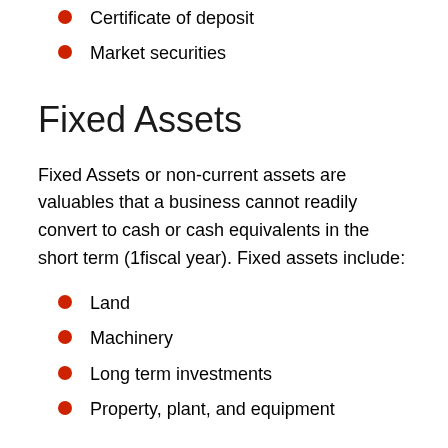Certificate of deposit
Market securities
Fixed Assets
Fixed Assets or non-current assets are valuables that a business cannot readily convert to cash or cash equivalents in the short term (1fiscal year). Fixed assets include:
Land
Machinery
Long term investments
Property, plant, and equipment
Note: Some financial advisors list